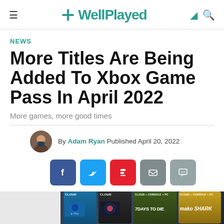≡ ✛WellPlayed 🌙 🔍
NEWS
More Titles Are Being Added To Xbox Game Pass In April 2022
More games, more good times
By Adam Ryan Published April 20, 2022
[Figure (screenshot): Social share buttons: Facebook, Twitter, Flipboard, Email, Comment]
[Figure (screenshot): Bottom cropped image showing Xbox Game Pass titles including 7 Days to Die and others]